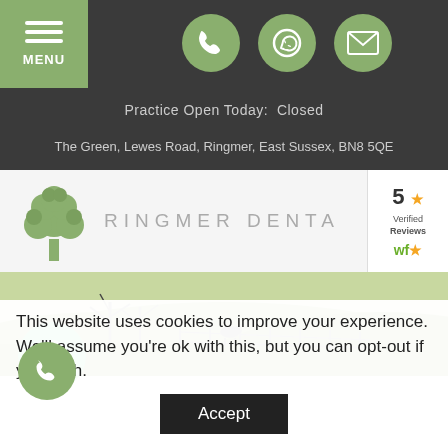MENU
Practice Open Today:  Closed
The Green, Lewes Road, Ringmer, East Sussex, BN8 5QE
[Figure (logo): Ringmer Dental logo with tree illustration and text RINGMER DENTAL]
[Figure (photo): Landscape photo of green countryside with trees and fence]
This website uses cookies to improve your experience. We'll assume you're ok with this, but you can opt-out if you wish.
Accept